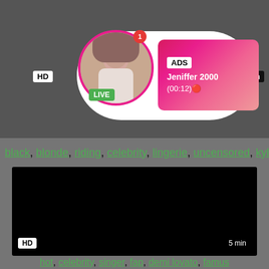[Figure (screenshot): Top dark banner with HD badge, ad popup card with pink avatar circle, LIVE badge, notification badge, pink gradient ad box showing ADS label, username Jeniffer 2000, and timestamp (00:12)]
black, blonde, riding, celebrity, lingerie, uncensored, kylie,...
[Figure (screenshot): Black video player area with HD badge bottom-left and 5 min badge bottom-right]
Demi Lovato Fap Hot Celebrity Singer
hot, celebrity, singer, fap, demi lovato, famus